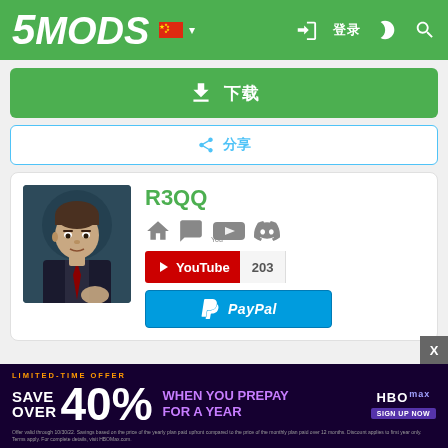5MODS navigation bar with logo, Chinese flag, login icon, dark mode, search
[Figure (screenshot): Download button with download icon and Chinese text (下载)]
[Figure (screenshot): Share button with share icon and Chinese text (分享)]
[Figure (screenshot): Profile card with avatar image, username R3QQ, social icons (home, chat, YouTube, Discord), YouTube subscribe button showing 203 subscribers, and PayPal donation button]
[Figure (screenshot): HBO Max advertisement banner: LIMITED-TIME OFFER SAVE OVER 40% WHEN YOU PREPAY FOR A YEAR with fine print]